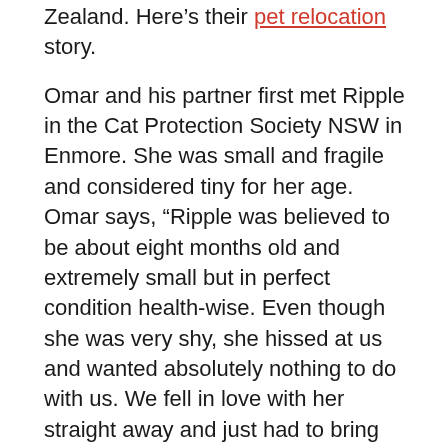Zealand. Here's their pet relocation story.
Omar and his partner first met Ripple in the Cat Protection Society NSW in Enmore. She was small and fragile and considered tiny for her age. Omar says, “Ripple was believed to be about eight months old and extremely small but in perfect condition health-wise. Even though she was very shy, she hissed at us and wanted absolutely nothing to do with us. We fell in love with her straight away and just had to bring her home.”
For many months after Omar brought Ripple home, she barely wanted anything to do with him. She would sleep by herself and occasionally play with them. Omar recollects, “She hated to be touched or picked up by us. One Christmas, we had to go home to New Zealand, and we left her at a cattery at Sydney airport. It was heartbreaking for us to leave her in a place that she didn’t like. However, it turned out to be the best decision